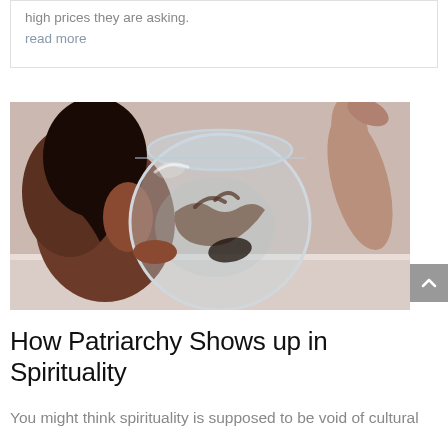high prices they are asking.
read more
[Figure (photo): A woman with long dark hair sits behind a round glass fish bowl filled with water, visible from the back/side; legs visible in the upper right corner, artistic black and white toned photograph]
How Patriarchy Shows up in Spirituality
You might think spirituality is supposed to be void of cultural